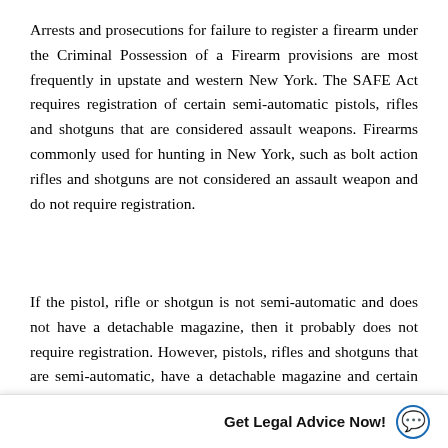Arrests and prosecutions for failure to register a firearm under the Criminal Possession of a Firearm provisions are most frequently in upstate and western New York. The SAFE Act requires registration of certain semi-automatic pistols, rifles and shotguns that are considered assault weapons. Firearms commonly used for hunting in New York, such as bolt action rifles and shotguns are not considered an assault weapon and do not require registration.
If the pistol, rifle or shotgun is not semi-automatic and does not have a detachable magazine, then it probably does not require registration. However, pistols, rifles and shotguns that are semi-automatic, have a detachable magazine and certain specific characteristics like a folding or thumbhole stock, a second handgrip held by the non-trigger hand and a conspicuous pistol grip, are likely required to be registered. New York State mainlines a helpful web